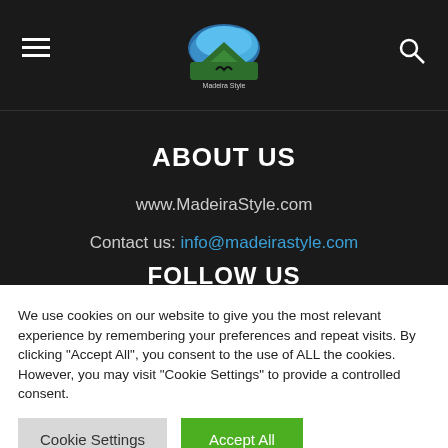Madeira Style navigation bar with hamburger menu, logo, and search icon
ABOUT US
www.MadeiraStyle.com
Contact us: info@madeirastyle.com
FOLLOW US
We use cookies on our website to give you the most relevant experience by remembering your preferences and repeat visits. By clicking "Accept All", you consent to the use of ALL the cookies. However, you may visit "Cookie Settings" to provide a controlled consent.